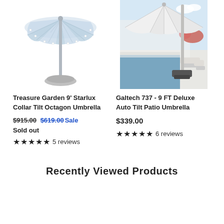[Figure (photo): Treasure Garden 9-foot Starlux Collar Tilt Octagon Umbrella product photo, light blue/white canopy with decorative lights, gray pole and round base]
[Figure (photo): Galtech 737 9 FT Deluxe Auto Tilt Patio Umbrella product photo, white canopy over a modern pool patio setting with lounge chairs]
Treasure Garden 9' Starlux Collar Tilt Octagon Umbrella
$915.00 $619.00 Sale
Sold out
★★★★★ 5 reviews
Galtech 737 - 9 FT Deluxe Auto Tilt Patio Umbrella
$339.00
★★★★★ 6 reviews
Recently Viewed Products